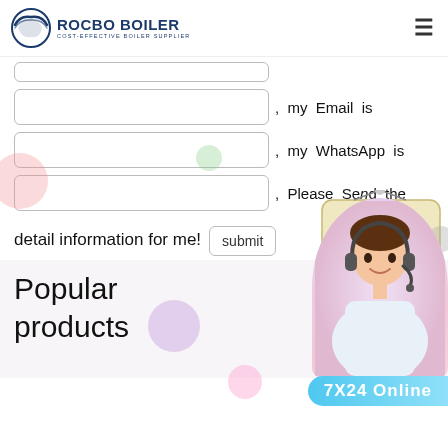[Figure (logo): Rocbo Boiler logo with circular wave icon and text 'ROCBO BOILER / COST-EFFECTIVE BOILER SUPPLIER']
, my Email is
, my WhatsApp is
, Please Send the detail information for me!
[Figure (illustration): 10% DISCOUNT badge/sticker in red and teal colors on beige tag background]
Popular products
[Figure (photo): Customer service representative with headset, smiling]
7X24 Online